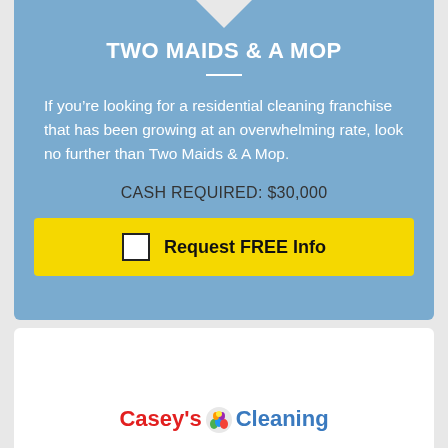TWO MAIDS & A MOP
If you’re looking for a residential cleaning franchise that has been growing at an overwhelming rate, look no further than Two Maids & A Mop.
CASH REQUIRED: $30,000
Request FREE Info
[Figure (logo): Casey's Cleaning logo with text in red and blue and a small colorful icon]